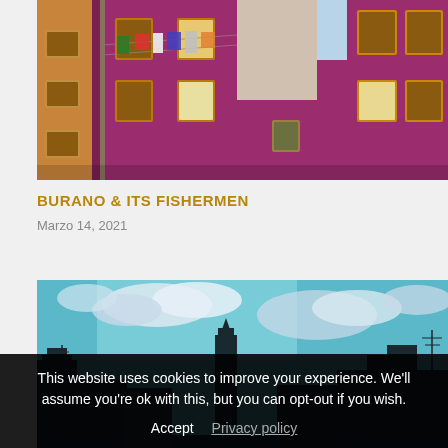[Figure (photo): Colorful pink/magenta building in Burano with yellow shutters and laundry hanging on lines outside]
BURANO & ITS FISHERMEN
Marzo 14, 2021
[Figure (photo): Burano skyline with church tower silhouetted against a blue cloudy sky, buildings on either side]
This website uses cookies to improve your experience. We'll assume you're ok with this, but you can opt-out if you wish. Accept  Privacy policy